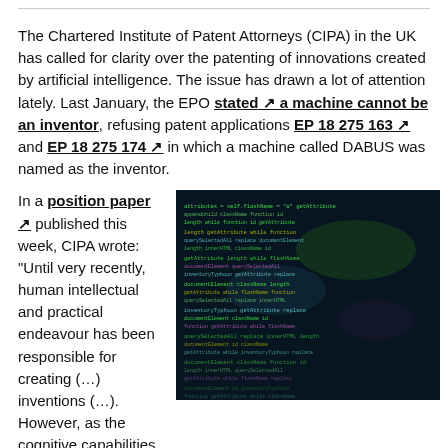The Chartered Institute of Patent Attorneys (CIPA) in the UK has called for clarity over the patenting of innovations created by artificial intelligence. The issue has drawn a lot of attention lately. Last January, the EPO stated [link] a machine cannot be an inventor, refusing patent applications EP 18 275 163 [link] and EP 18 275 174 [link] in which a machine called DABUS was named as the inventor.
In a position paper [link] published this week, CIPA wrote: “Until very recently, human intellectual and practical endeavour has been responsible for creating (…) inventions (…). However, as the cognitive capabilities and power of artificial intelligence (AI) systems improve, they are already participating in advances across
[Figure (photo): Dark background image showing colorful programming code text on a screen, with various syntax highlighted in green, blue, yellow, pink, and white tones against a near-black background.]